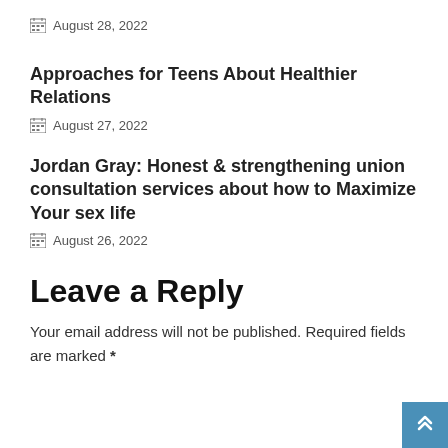August 28, 2022
Approaches for Teens About Healthier Relations
August 27, 2022
Jordan Gray: Honest & strengthening union consultation services about how to Maximize Your sex life
August 26, 2022
Leave a Reply
Your email address will not be published. Required fields are marked *